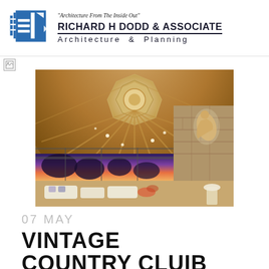"Architecture From The Inside Out" RICHARD H DODD & ASSOCIATE Architecture & Planning
[Figure (photo): Interior photo of a circular rotunda room with a grand octagonal coffered ceiling, panoramic floor-to-ceiling windows with a dusk/evening landscape outside, white lounge seating, and a stone fireplace with a wall sculpture on the right side.]
07 MAY
VINTAGE COUNTRY CLUB